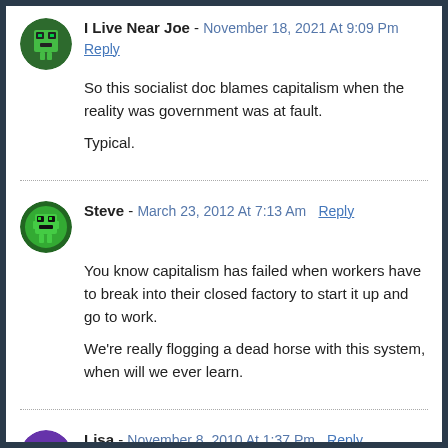I Live Near Joe - November 18, 2021 At 9:09 Pm
Reply
So this socialist doc blames capitalism when the reality was government was at fault.

Typical.
Steve - March 23, 2012 At 7:13 Am  Reply
You know capitalism has failed when workers have to break into their closed factory to start it up and go to work.

We're really flogging a dead horse with this system, when will we ever learn.
Lisa - November 8, 2010 At 1:37 Pm  Reply